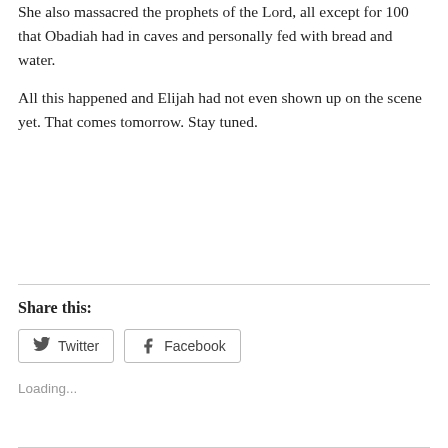She also massacred the prophets of the Lord, all except for 100 that Obadiah had in caves and personally fed with bread and water.
All this happened and Elijah had not even shown up on the scene yet. That comes tomorrow. Stay tuned.
Share this:
Twitter
Facebook
Loading...